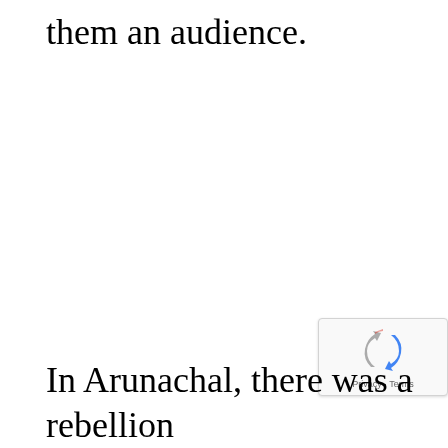them an audience.
[Figure (logo): reCAPTCHA badge with Privacy and Terms text]
In Arunachal, there was a rebellion